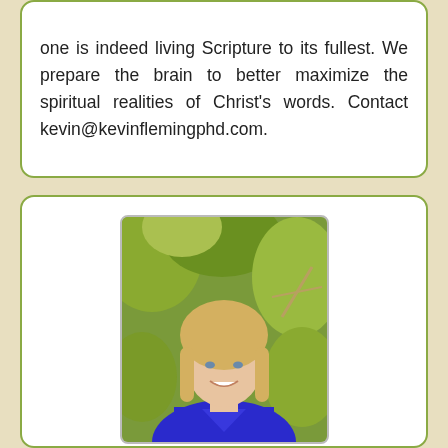one is indeed living Scripture to its fullest. We prepare the brain to better maximize the spiritual realities of Christ's words. Contact kevin@kevinflemingphd.com.
[Figure (photo): Professional headshot of a blonde woman smiling, wearing a blue top, with green foliage in the background]
Christian Counselor
Christi Lindsay, PsyD
Licensed Clinical Psychologist